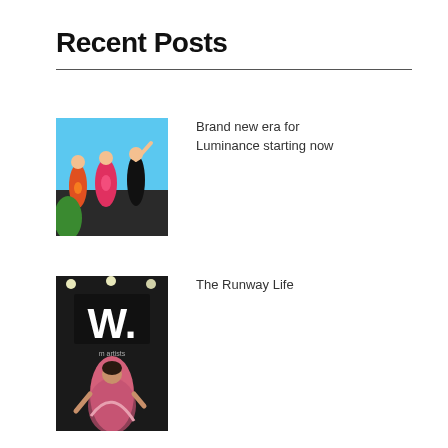Recent Posts
[Figure (photo): Three performers in colorful costumes on a stage with blue sky background]
Brand new era for Luminance starting now
[Figure (photo): Fashion model on runway with large W signage in background]
The Runway Life